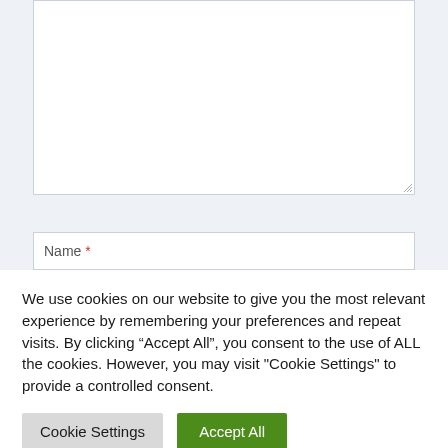[Figure (screenshot): A large empty white textarea input box with a resize handle in the bottom-right corner, set against a light blue-grey background.]
[Figure (screenshot): A white form input field labeled 'Name *' with an asterisk in red/orange, partially visible at the bottom of the top section.]
We use cookies on our website to give you the most relevant experience by remembering your preferences and repeat visits. By clicking “Accept All”, you consent to the use of ALL the cookies. However, you may visit "Cookie Settings" to provide a controlled consent.
Cookie Settings
Accept All